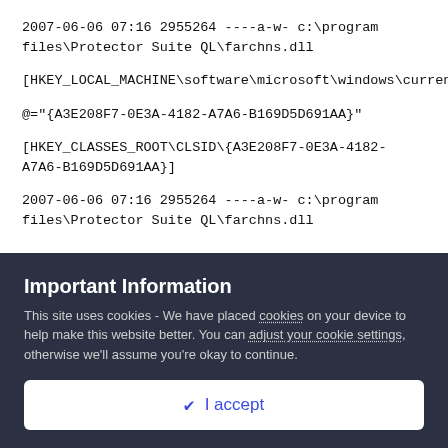2007-06-06 07:16 2955264 ----a-w- c:\program files\Protector Suite QL\farchns.dll
[HKEY_LOCAL_MACHINE\software\microsoft\windows\currentversion\explorer\shelliconoverlayidentifiers\UEAFOverlayOpen]
@="{A3E208F7-0E3A-4182-A7A6-B169D5D691AA}"
[HKEY_CLASSES_ROOT\CLSID\{A3E208F7-0E3A-4182-A7A6-B169D5D691AA}]
2007-06-06 07:16 2955264 ----a-w- c:\program files\Protector Suite QL\farchns.dll
Important Information
This site uses cookies - We have placed cookies on your device to help make this website better. You can adjust your cookie settings, otherwise we'll assume you're okay to continue.
✔ I accept